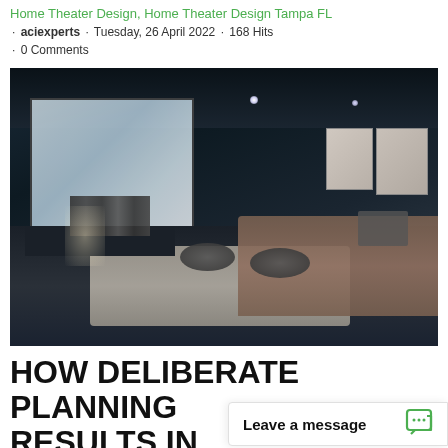Home Theater Design, Home Theater Design Tampa FL · aciexperts · Tuesday, 26 April 2022 · 168 Hits · 0 Comments
[Figure (photo): Dark moody home theater room with large projection screen on the left, dark walls and ceiling, recessed spotlights, a large sectional sofa on the right, two round dark poufs on a light area rug, abstract art prints on the wall, and a sideboard with books on the left.]
HOW DELIBERATE PLANNING RESULTS IN
Leave a message